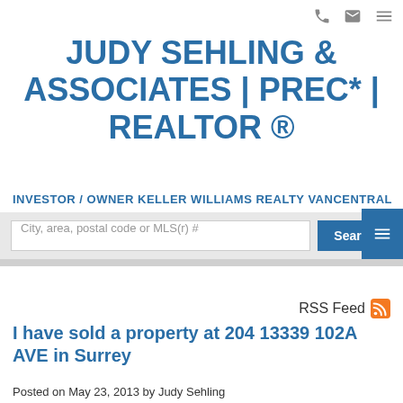JUDY SEHLING & ASSOCIATES | PREC* | REALTOR ®
INVESTOR / OWNER KELLER WILLIAMS REALTY VANCENTRAL
City, area, postal code or MLS(r) #
RSS Feed
I have sold a property at 204 13339 102A AVE in Surrey
Posted on May 23, 2013 by Judy Sehling